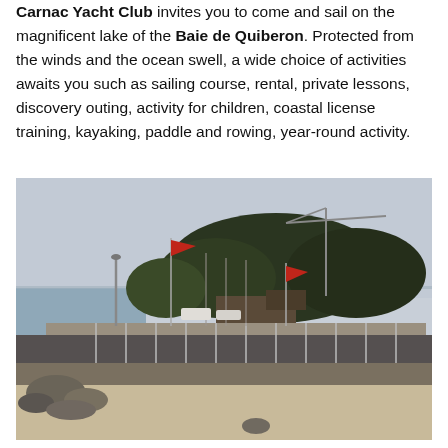Carnac Yacht Club invites you to come and sail on the magnificent lake of the Baie de Quiberon. Protected from the winds and the ocean swell, a wide choice of activities awaits you such as sailing course, rental, private lessons, discovery outing, activity for children, coastal license training, kayaking, paddle and rowing, year-round activity.
[Figure (photo): Coastal scene showing a harbour/yacht club area with trees, flagpoles with red flags, boats, a seawall, a road, sandy beach in the foreground, and a crane visible in the background under an overcast sky.]